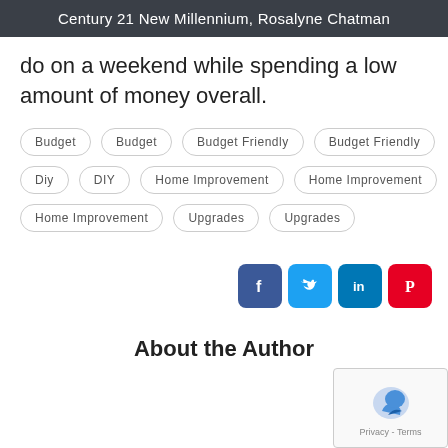Century 21 New Millennium, Rosalyne Chatman
do on a weekend while spending a low amount of money overall.
Budget
Budget
Budget Friendly
Budget Friendly
Diy
DIY
Home Improvement
Home Improvement
Home Improvement
Upgrades
Upgrades
[Figure (infographic): Social media share icons: Facebook (blue), Twitter (light blue), LinkedIn (blue), Pinterest (red)]
About the Author